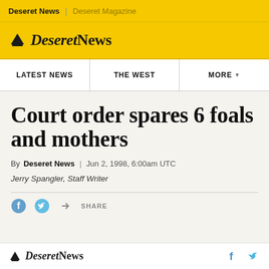Deseret News | Deseret Magazine
[Figure (logo): Deseret News logo with mountain/hat icon and serif wordmark on yellow background]
LATEST NEWS | THE WEST | MORE
Court order spares 6 foals and mothers
By Deseret News | Jun 2, 1998, 6:00am UTC
Jerry Spangler, Staff Writer
[Figure (other): Social share icons: Facebook, Twitter, and share arrow with SHARE label]
Deseret News logo with Facebook and Twitter icons